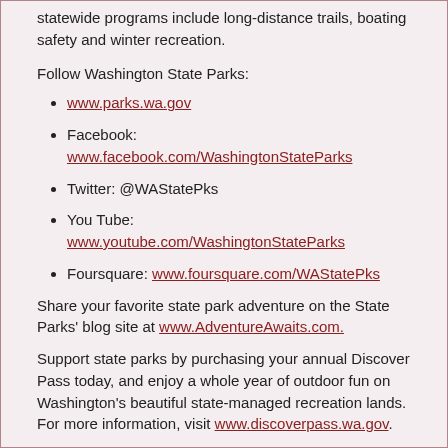statewide programs include long-distance trails, boating safety and winter recreation.
Follow Washington State Parks:
www.parks.wa.gov
Facebook: www.facebook.com/WashingtonStateParks
Twitter: @WAStatePks
You Tube: www.youtube.com/WashingtonStateParks
Foursquare: www.foursquare.com/WAStatePks
Share your favorite state park adventure on the State Parks' blog site at www.AdventureAwaits.com.
Support state parks by purchasing your annual Discover Pass today, and enjoy a whole year of outdoor fun on Washington's beautiful state-managed recreation lands. For more information, visit www.discoverpass.wa.gov.